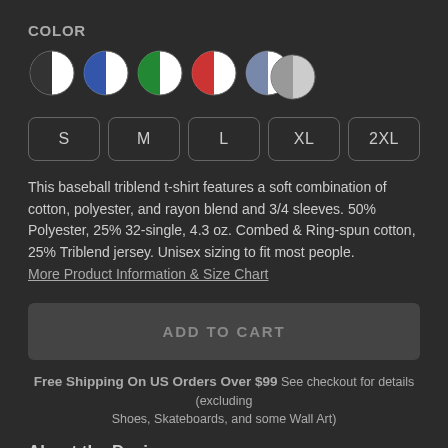COLOR
[Figure (other): Six color swatches shown as circles: black/white split, blue/white split, green/white split, red/white split, blue-grey/white split, grey/light-grey split]
S  M  L  XL  2XL (size selector buttons)
This baseball triblend t-shirt features a soft combination of cotton, polyester, and rayon blend and 3/4 sleeves. 50% Polyester, 25% 32-single, 4.3 oz. Combed & Ring-spun cotton, 25% Triblend jersey. Unisex sizing to fit most people.
More Product Information & Size Chart
ADD TO CART
Free Shipping On US Orders Over $99 See checkout for details (excluding Shoes, Skateboards, and some Wall Art)
About the Design
California is flooded with sharks, here's proof.